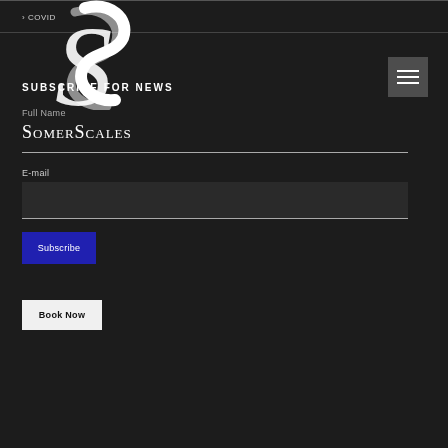› COVID
[Figure (logo): SomerScales decorative S logo in white]
SUBSCRIBE FOR NEWS
Full Name
SomerScales
E-mail
Subscribe
Book Now